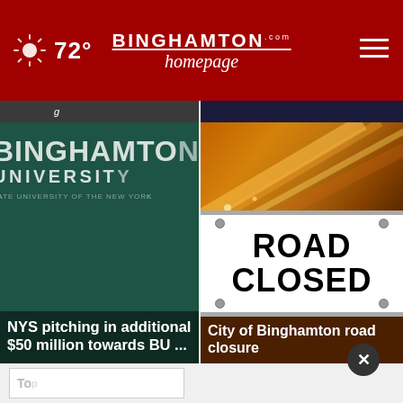72° — Binghamton Homepage
[Figure (screenshot): Partially visible card showing cropped image at top]
[Figure (screenshot): Dark green card with Binghamton University text and headline: NYS pitching in additional $50 million towards BU ...]
[Figure (photo): Orange/amber abstract streaks photo at top of right card]
[Figure (photo): Road Closed sign image]
NYS pitching in additional $50 million towards BU ...
City of Binghamton road closure
[Figure (screenshot): Bottom partial: Top Videos box and Men's Wearhouse advertisement banner with Joseph Abboud Navy and Pronto Uomo Tan N... items]